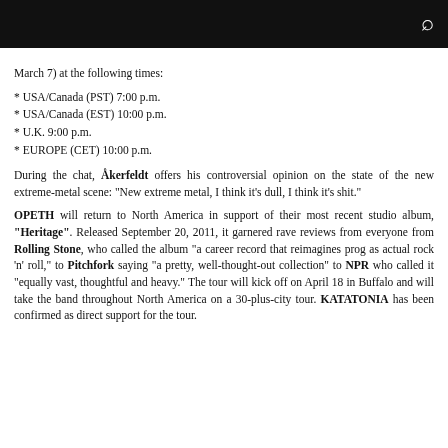March 7) at the following times:
* USA/Canada (PST) 7:00 p.m.
* USA/Canada (EST) 10:00 p.m.
* U.K. 9:00 p.m.
* EUROPE (CET) 10:00 p.m.
During the chat, Åkerfeldt offers his controversial opinion on the state of the new extreme-metal scene: "New extreme metal, I think it's dull, I think it's shit."
OPETH will return to North America in support of their most recent studio album, "Heritage". Released September 20, 2011, it garnered rave reviews from everyone from Rolling Stone, who called the album "a career record that reimagines prog as actual rock 'n' roll," to Pitchfork saying "a pretty, well-thought-out collection" to NPR who called it "equally vast, thoughtful and heavy." The tour will kick off on April 18 in Buffalo and will take the band throughout North America on a 30-plus-city tour. KATATONIA has been confirmed as direct support for the tour.